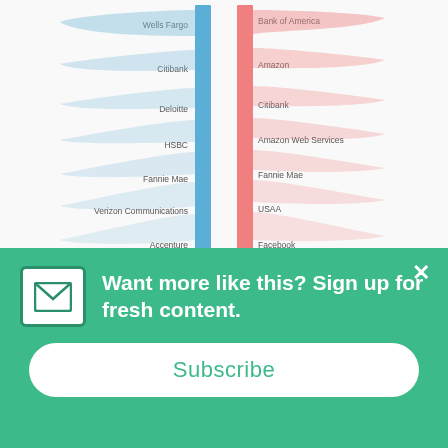[Figure (other): Sankey/alluvial diagram showing talent flow between companies and Capital One. Left side (blue) shows companies employees came from: Wells Fargo, Citibank, Deloitte, HSBC, Fannie Mae, Verizon Communications, Accenture, General Electric. Right side (pink) shows companies employees went to: Bank of America, Amazon, Citibank, Amazon Web Services, Fannie Mae, USAA, Facebook, Google.]
Unsurprisingly we see Capital One trading talent with other major players in financial services (JP Morgan Chase, Bank of America, Wells Fargo, etc.). But it's interesting to see that they also hire people away from Verizon Communications and
Want more like this? Sign up for fresh content.
Subscribe